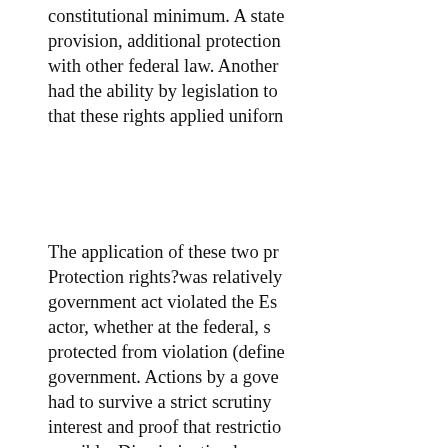constitutional minimum. A state provision, additional protection with other federal law. Another had the ability by legislation to that these rights applied uniforn
The application of these two pr Protection rights?was relatively government act violated the Es actor, whether at the federal, s protected from violation (define government. Actions by a gove had to survive a strict scrutiny interest and proof that restrictio possible. Discrimination by gov “immutable traits,” also had to protected by “semi-strict” scrut review.
If these protections were felt in enact civil rights statutes that p discrimination by public or priv and gender and then later as to own civil rights statutes providi conflict with federal law or poli
Those two principles?that the b